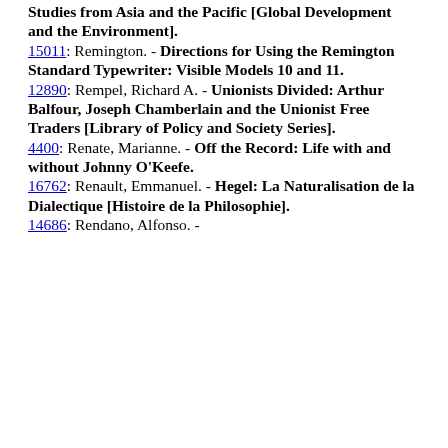Studies from Asia and the Pacific [Global Development and the Environment].
15011: Remington. - Directions for Using the Remington Standard Typewriter: Visible Models 10 and 11.
12890: Rempel, Richard A. - Unionists Divided: Arthur Balfour, Joseph Chamberlain and the Unionist Free Traders [Library of Policy and Society Series].
4400: Renate, Marianne. - Off the Record: Life with and without Johnny O'Keefe.
16762: Renault, Emmanuel. - Hegel: La Naturalisation de la Dialectique [Histoire de la Philosophie].
14686: Rendano, Alfonso. -